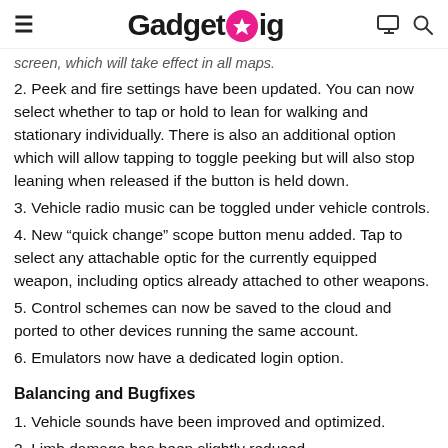GadgetGig
screen, which will take effect in all maps.
2. Peek and fire settings have been updated. You can now select whether to tap or hold to lean for walking and stationary individually. There is also an additional option which will allow tapping to toggle peeking but will also stop leaning when released if the button is held down.
3. Vehicle radio music can be toggled under vehicle controls.
4. New “quick change” scope button menu added. Tap to select any attachable optic for the currently equipped weapon, including optics already attached to other weapons.
5. Control schemes can now be saved to the cloud and ported to other devices running the same account.
6. Emulators now have a dedicated login option.
Balancing and Bugfixes
1. Vehicle sounds have been improved and optimized.
2. Limb damage has been slightly reduced.
3. Characters should no longer enter sprint when fall great distance.